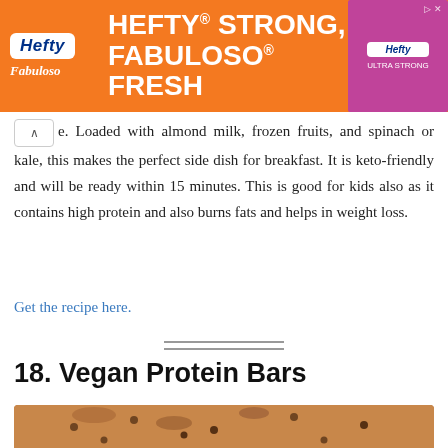[Figure (photo): Hefty brand advertisement banner with orange background showing 'HEFTY STRONG, FABULOSO FRESH' tagline with Hefty and Fabuloso logos]
e. Loaded with almond milk, frozen fruits, and spinach or kale, this makes the perfect side dish for breakfast. It is keto-friendly and will be ready within 15 minutes. This is good for kids also as it contains high protein and also burns fats and helps in weight loss.
Get the recipe here.
18. Vegan Protein Bars
[Figure (photo): Photo of vegan protein bars with chocolate chips, stacked on a surface, with a bowl of what appears to be peanut butter in the background]